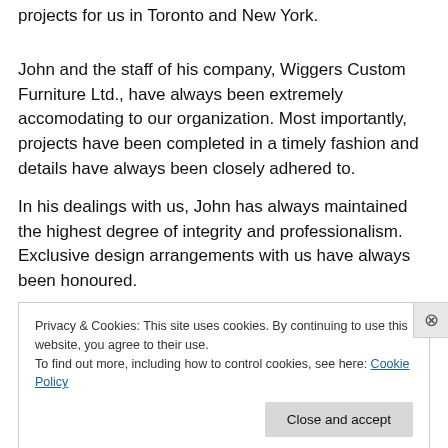projects for us in Toronto and New York.
John and the staff of his company, Wiggers Custom Furniture Ltd., have always been extremely accomodating to our organization. Most importantly, projects have been completed in a timely fashion and details have always been closely adhered to.
In his dealings with us, John has always maintained the highest degree of integrity and professionalism. Exclusive design arrangements with us have always been honoured.
Privacy & Cookies: This site uses cookies. By continuing to use this website, you agree to their use.
To find out more, including how to control cookies, see here: Cookie Policy
Close and accept